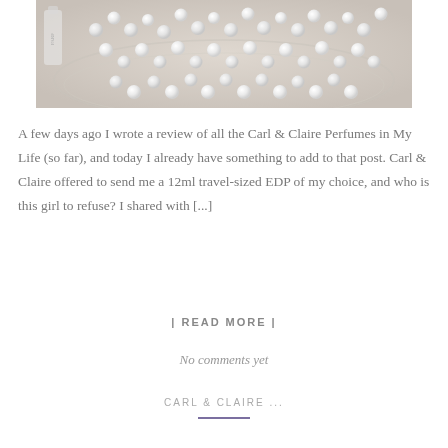[Figure (photo): Close-up photo of white pearl beads scattered on a crystal glass dish, with a perfume bottle partially visible in the background]
A few days ago I wrote a review of all the Carl & Claire Perfumes in My Life (so far), and today I already have something to add to that post. Carl & Claire offered to send me a 12ml travel-sized EDP of my choice, and who is this girl to refuse? I shared with [...]
| READ MORE |
No comments yet
CARL & CLAIRE ...